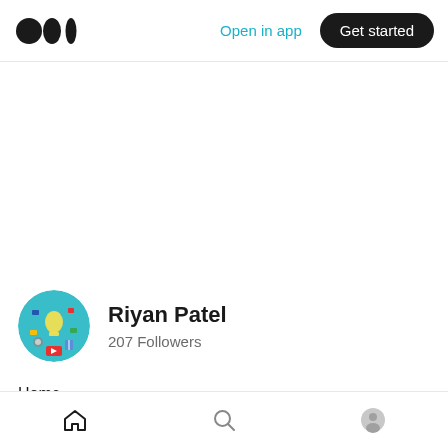Medium logo | Open in app | Get started
[Figure (photo): Circular avatar image showing a teal/blue background with illustrated icons representing ideas, technology, flags, a lightbulb. Profile picture for Riyan Patel on Medium.]
Riyan Patel
207 Followers
Home
Published in ILLUMINATION · 3 days ago ✦
Home | Search | Profile